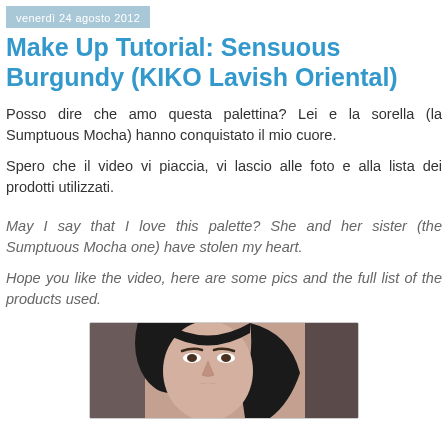venerdì 24 agosto 2012
Make Up Tutorial: Sensuous Burgundy (KIKO Lavish Oriental)
Posso dire che amo questa palettina? Lei e la sorella (la Sumptuous Mocha) hanno conquistato il mio cuore.
Spero che il video vi piaccia, vi lascio alle foto e alla lista dei prodotti utilizzati.
May I say that I love this palette? She and her sister (the Sumptuous Mocha one) have stolen my heart.
Hope you like the video, here are some pics and the full list of the products used.
[Figure (photo): Photo of a woman with dark hair and makeup, partially cropped showing face and shoulders against a dark background]